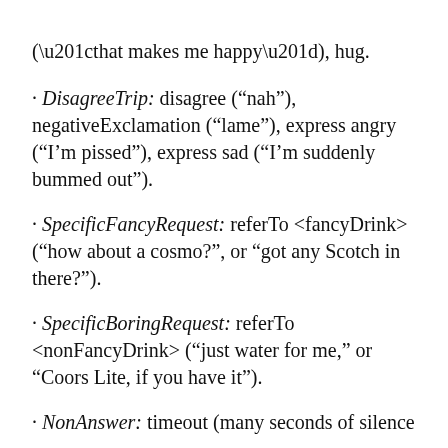(“that makes me happy”), hug.
· DisagreeTrip: disagree (“nah”), negativeExclamation (“lame”), express angry (“I’m pissed”), express sad (“I’m suddenly bummed out”).
· SpecificFancyRequest: referTo <fancyDrink> (“how about a cosmo?”, or “got any Scotch in there?”).
· SpecificBoringRequest: referTo <nonFancyDrink> (“just water for me,” or “Coors Lite, if you have it”).
· NonAnswer: timeout (many seconds of silence